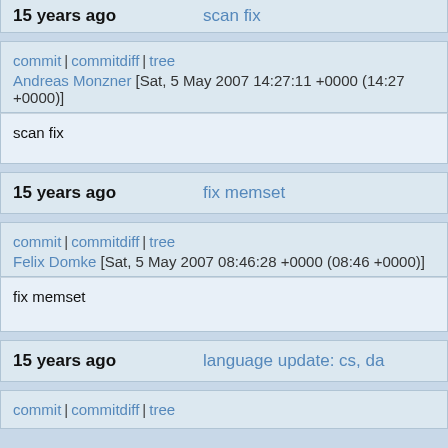15 years ago  scan fix
commit | commitdiff | tree
Andreas Monzner [Sat, 5 May 2007 14:27:11 +0000 (14:27 +0000)]
scan fix
15 years ago  fix memset
commit | commitdiff | tree
Felix Domke [Sat, 5 May 2007 08:46:28 +0000 (08:46 +0000)]
fix memset
15 years ago  language update: cs, da
commit | commitdiff | tree